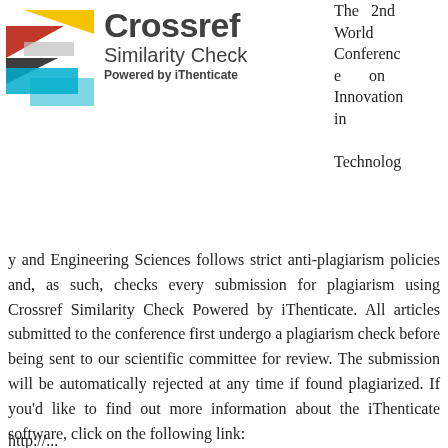[Figure (logo): Crossref Similarity Check logo with colored geometric shapes and text 'Crossref Similarity Check Powered by iThenticate']
The 2nd World Conference on Innovation in Technology and Engineering Sciences follows strict anti-plagiarism policies and, as such, checks every submission for plagiarism using Crossref Similarity Check Powered by iThenticate. All articles submitted to the conference first undergo a plagiarism check before being sent to our scientific committee for review. The submission will be automatically rejected at any time if found plagiarized. If you'd like to find out more information about the iThenticate software, click on the following link:
http://...